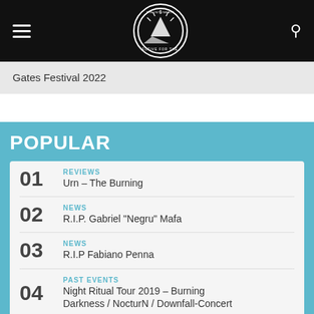Din Intuneric – navigation header with hamburger menu, logo, and search icon
Gates Festival 2022
POPULAR
01 REVIEWS — Urn – The Burning
02 NEWS — R.I.P. Gabriel "Negru" Mafa
03 NEWS — R.I.P Fabiano Penna
04 PAST EVENTS — Night Ritual Tour 2019 – Burning Darkness / NocturN / Downfall-Concert